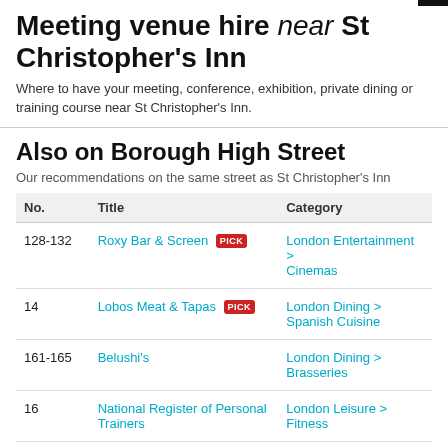Meeting venue hire near St Christopher's Inn
Where to have your meeting, conference, exhibition, private dining or training course near St Christopher's Inn.
Also on Borough High Street
Our recommendations on the same street as St Christopher's Inn
| No. | Title | Category |
| --- | --- | --- |
| 128-132 | Roxy Bar & Screen [PICK] | London Entertainment > Cinemas |
| 14 | Lobos Meat & Tapas [PICK] | London Dining > Spanish Cuisine |
| 161-165 | Belushi's | London Dining > Brasseries |
| 16 | National Register of Personal Trainers | London Leisure > Fitness |